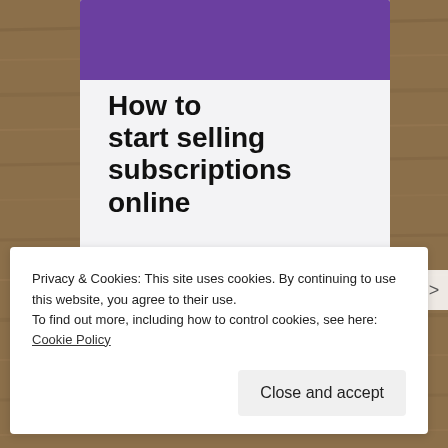[Figure (screenshot): Website screenshot showing a card with purple and orange decorative elements on a wood-texture background. The card contains a heading 'How to start selling subscriptions online' and a purple 'Start a new store' button. A cookie consent banner overlays the bottom portion.]
How to start selling subscriptions online
Start a new store
Privacy & Cookies: This site uses cookies. By continuing to use this website, you agree to their use.
To find out more, including how to control cookies, see here: Cookie Policy
Close and accept